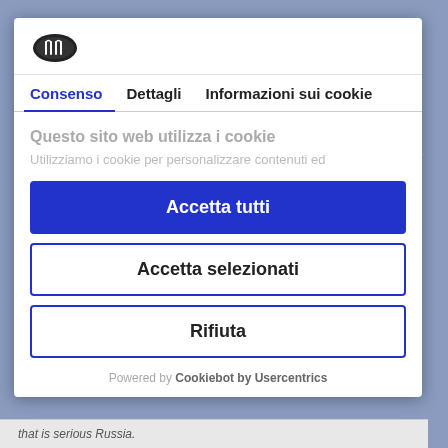[Figure (screenshot): Cookie consent modal dialog with Cookiebot logo, tabs for Consenso, Dettagli, Informazioni sui cookie, cookie notice text, and three buttons: Accetta tutti (blue), Accetta selezionati (outline), Rifiuta (outline). Footer reads Powered by Cookiebot by Usercentrics.]
Questo sito web utilizza i cookie
Utilizziamo i cookie per personalizzare contenuti ed
Accetta tutti
Accetta selezionati
Rifiuta
Powered by Cookiebot by Usercentrics
that is serious Russia.